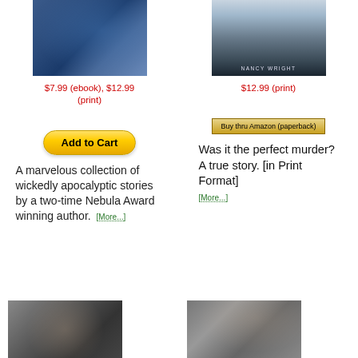[Figure (photo): Book cover showing two figures in blue tones]
[Figure (photo): Book cover by Nancy Wright with infant and medical imagery, dark tones]
$7.99 (ebook), $12.99 (print)
$12.99 (print)
[Figure (other): Add to Cart button (yellow rounded)]
[Figure (other): Buy thru Amazon (paperback) button]
A marvelous collection of wickedly apocalyptic stories by a two-time Nebula Award winning author. [More...]
Was it the perfect murder? A true story. [in Print Format] [More...]
[Figure (photo): Book cover with ornate circular dark pattern, grayscale]
[Figure (photo): Book cover with figure and face in grayscale]